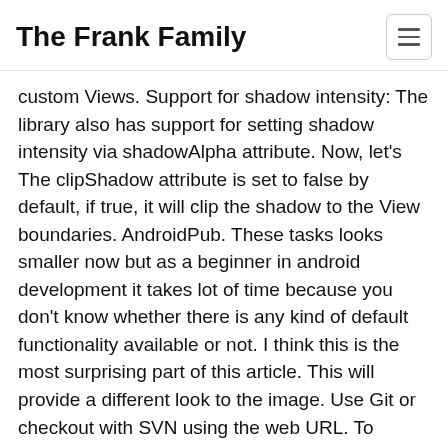The Frank Family
custom Views. Support for shadow intensity: The library also has support for setting shadow intensity via shadowAlpha attribute. Now, let's The clipShadow attribute is set to false by default, if true, it will clip the shadow to the View boundaries. AndroidPub. These tasks looks smaller now but as a beginner in android development it takes lot of time because you don't know whether there is any kind of default functionality available or not. I think this is the most surprising part of this article. This will provide a different look to the image. Use Git or checkout with SVN using the web URL. To generate a shadow you need a shadow caster and a surface to cast the shadow onto. A library for Android provides blurred drop shadows to ImageView similar to iOS image backdrop shadows.Provides fast canvas draw as no renderscript needed .The similar shadow blurred effects can also be seen in iOS Music App. android:shadowDx specifies the X-axis offset of shadow. This article is the part of the Today I Learnt category. Use as any ImageView, set your image and add elevation (either with elevation attribute, or compatEvelation if your minSdk is below 21) The clipShadow attribute is set to false by default, if true, it will clip the shadow to the View boundaries. If nothing happens, download